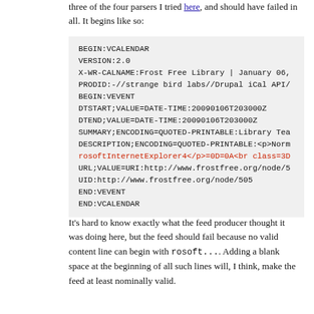three of the four parsers I tried here, and should have failed in all. It begins like so:
[Figure (screenshot): A code block on a light grey background showing iCalendar (VCALENDAR) feed data with one line highlighted in red: BEGIN:VCALENDAR VERSION:2.0 X-WR-CALNAME:Frost Free Library | January 06, PRODID:-//strange bird labs//Drupal iCal API/ BEGIN:VEVENT DTSTART;VALUE=DATE-TIME:20090106T203000Z DTEND;VALUE=DATE-TIME:20090106T203000Z SUMMARY;ENCODING=QUOTED-PRINTABLE:Library Tea DESCRIPTION;ENCODING=QUOTED-PRINTABLE:<p>Norm rosoftInternetExplorer4</p>=0D=0A<br class=3D URL;VALUE=URI:http://www.frostfree.org/node/5 UID:http://www.frostfree.org/node/505 END:VEVENT END:VCALENDAR]
It's hard to know exactly what the feed producer thought it was doing here, but the feed should fail because no valid content line can begin with rosoft.... Adding a blank space at the beginning of all such lines will, I think, make the feed at least nominally valid.